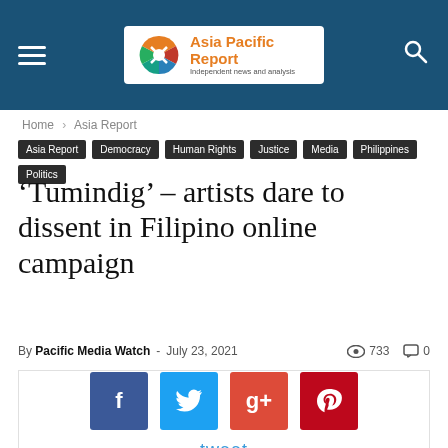Asia Pacific Report — Independent news and analysis
Home › Asia Report
Asia Report  Democracy  Human Rights  Justice  Media  Philippines  Politics
'Tumindig' – artists dare to dissent in Filipino online campaign
By Pacific Media Watch - July 23, 2021  👁 733  💬 0
[Figure (other): Social sharing buttons: Facebook, Twitter, Google+, Pinterest, and tweet label]